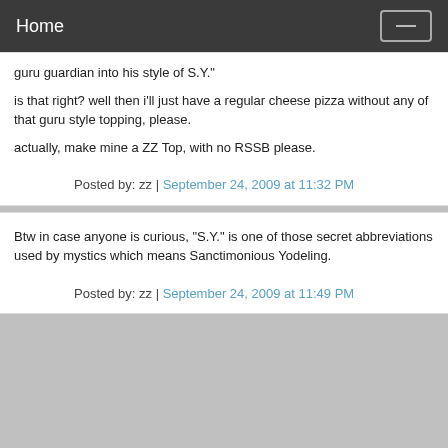Home
guru guardian into his style of S.Y."
is that right? well then i'll just have a regular cheese pizza without any of that guru style topping, please.
actually, make mine a ZZ Top, with no RSSB please.
Posted by: zz | September 24, 2009 at 11:32 PM
Btw in case anyone is curious, "S.Y." is one of those secret abbreviations used by mystics which means Sanctimonious Yodeling.
Posted by: zz | September 24, 2009 at 11:49 PM